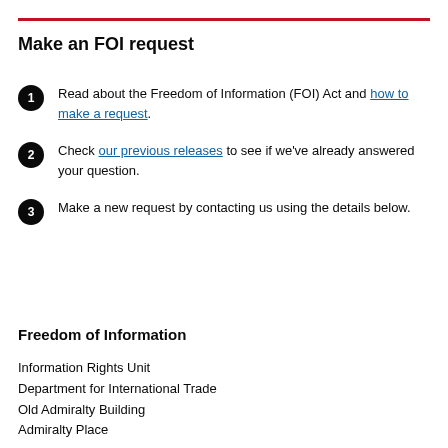Make an FOI request
Read about the Freedom of Information (FOI) Act and how to make a request.
Check our previous releases to see if we've already answered your question.
Make a new request by contacting us using the details below.
Freedom of Information
Information Rights Unit
Department for International Trade
Old Admiralty Building
Admiralty Place